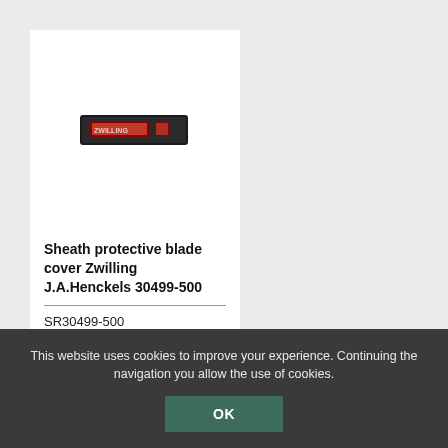[Figure (photo): Small black rectangular blade sheath/cover product image for Zwilling J.A.Henckels 30499-500]
Sheath protective blade cover Zwilling J.A.Henckels 30499-500
SR30499-500
This website uses cookies to improve your experience. Continuing the navigation you allow the use of cookies.
OK